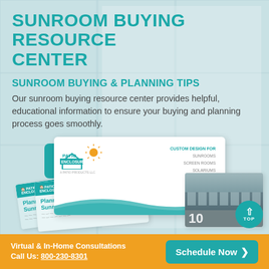SUNROOM BUYING RESOURCE CENTER
SUNROOM BUYING & PLANNING TIPS
Our sunroom buying resource center provides helpful, educational information to ensure your buying and planning process goes smoothly.
[Figure (illustration): Teal 'Download Now >' button]
[Figure (photo): Patio Enclosures brochures and planning guides fanned out, including a main white card with Patio Enclosures logo, a 'Planning Your Sunroom Addition' booklet, and a building exterior photo guide]
[Figure (illustration): Teal circular TOP button with upward arrow]
Virtual & In-Home Consultations
Call Us: 800-230-8301
[Figure (illustration): Teal 'Schedule Now >' button]